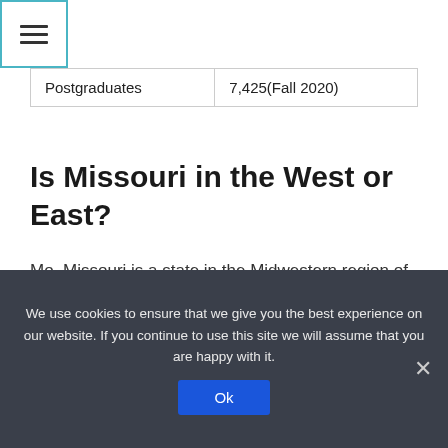[Figure (screenshot): Hamburger menu icon button with teal border in the top-left corner]
| Postgraduates | 7,425(Fall 2020) |
Is Missouri in the West or East?
Mo. Missouri is a state in the Midwestern region of the United States. Ranking 21st in land area, it is bordered by eight states (tied for the most with Tennessee): Iowa to the north, Illinois, Kentucky and Tennessee to the east, Arkansas to the south and Oklahoma, Kansas and Nebraska to the west.
We use cookies to ensure that we give you the best experience on our website. If you continue to use this site we will assume that you are happy with it.